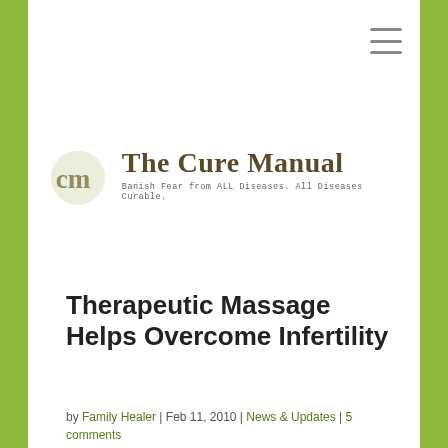[Figure (logo): The Cure Manual logo with stylized 'cm' icon and tagline 'Banish Fear from ALL Diseases. All Diseases Curable.']
Therapeutic Massage Helps Overcome Infertility
by Family Healer | Feb 11, 2010 | News & Updates | 5 comments